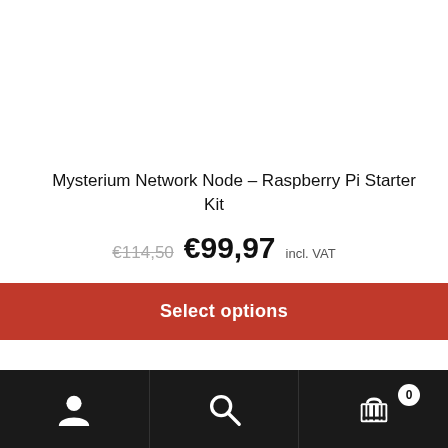Mysterium Network Node – Raspberry Pi Starter Kit
€114,50  €99,97 incl. VAT
Select options